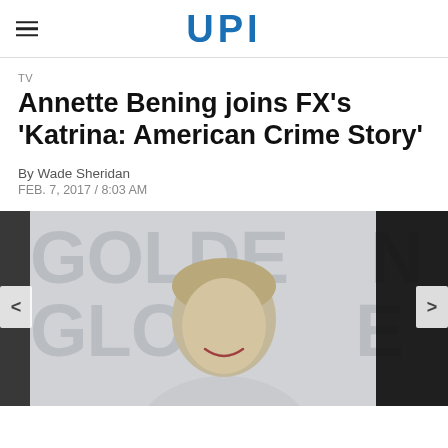UPI
TV
Annette Bening joins FX's 'Katrina: American Crime Story'
By Wade Sheridan
FEB. 7, 2017 / 8:03 AM
[Figure (photo): Annette Bening smiling at what appears to be the Golden Globes red carpet event, with 'GOLDEN GLOBE' text visible on the backdrop behind her. A black panel appears on the right side of the image. Navigation arrows are visible on left and right edges.]